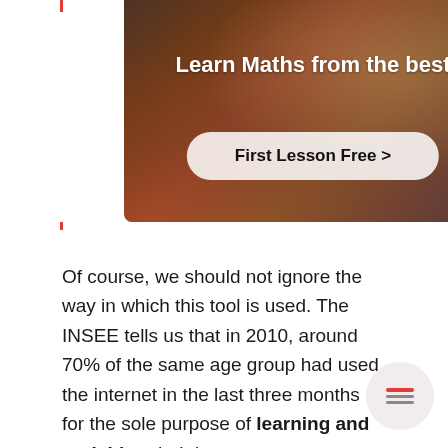[Figure (screenshot): Video overlay screenshot showing a person in a red shirt with arms outstretched, with the title 'Learn Maths from the best' and a 'First Lesson Free >' CTA button, plus an X close button in the top right corner.]
Of course, we should not ignore the way in which this tool is used. The INSEE tells us that in 2010, around 70% of the same age group had used the internet in the last three months for the sole purpose of learning and enriching their know